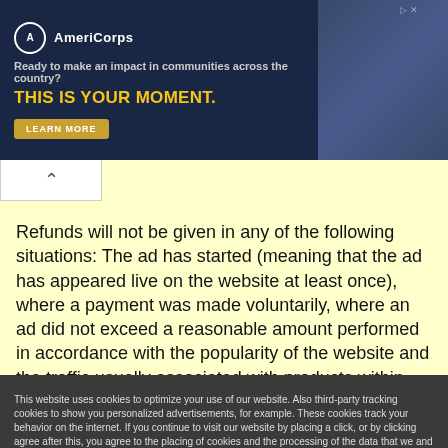[Figure (screenshot): AmeriCorps advertisement banner with dark navy background, logo, tagline 'Ready to make an impact in communities across the country?', headline 'THIS IS YOUR MOMENT.' in yellow, LEARN MORE button, and an image of people at computers on the right.]
Refunds will not be given in any of the following situations: The ad has started (meaning that the ad has appeared live on the website at least once), where a payment was made voluntarily, where an ad did not exceed a reasonable amount performed in accordance with the popularity of the website and the traffic usually associated with products within that category. No
This website uses cookies to optimize your use of our website. Also third-party tracking cookies to show you personalized advertisements, for example. These cookies track your behavior on the internet. If you continue to visit our website by placing a click, or by clicking agree after this, you agree to the placing of cookies and the processing of the data that we and our partners obtain as a result. More information OK